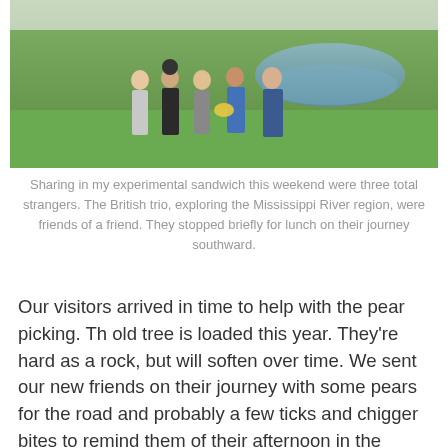[Figure (photo): Five people standing together outdoors near a pond with green grass, posing for a photo. One person is holding a basket of pears.]
Sharing in my experimental sandwich this weekend were three total strangers. The British trio, exploring the Mississippi River region, were friends of a friend. They stopped briefly for lunch on their journey southward.
Our visitors arrived in time to help with the pear picking. Th old tree is loaded this year. They're hard as a rock, but will soften over time. We sent our new friends on their journey with some pears for the road and probably a few ticks and chigger bites to remind them of their afternoon in the Ozark outdoors.